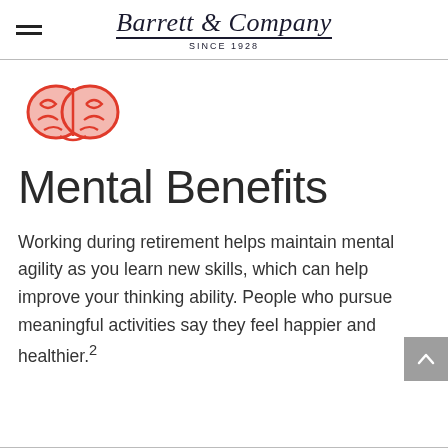Barrett & Company Since 1928
[Figure (illustration): Red outlined brain icon with pink fill, stylized cartoon brain]
Mental Benefits
Working during retirement helps maintain mental agility as you learn new skills, which can help improve your thinking ability. People who pursue meaningful activities say they feel happier and healthier.2